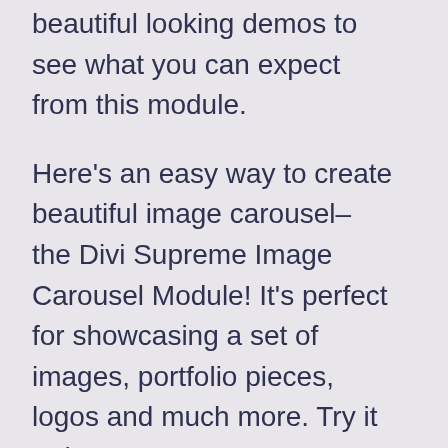beautiful looking demos to see what you can expect from this module.
Here's an easy way to create beautiful image carousel–the Divi Supreme Image Carousel Module! It's perfect for showcasing a set of images, portfolio pieces, logos and much more. Try it today!
We will be creating more new layout demo for other Divi Supreme Modules as